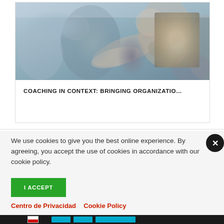[Figure (photo): Blurred photo of people in a meeting or coaching session, hands visible, business casual attire]
COACHING IN CONTEXT: BRINGING ORGANIZATIO…
We use cookies to give you the best online experience. By agreeing, you accept the use of cookies in accordance with our cookie policy.
I ACCEPT
Centro de Privacidad   Cookie Policy